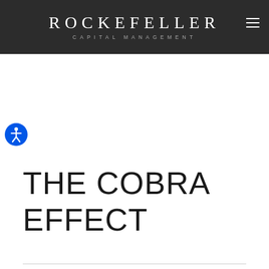ROCKEFELLER CAPITAL MANAGEMENT
[Figure (logo): Rockefeller Capital Management logo with white serif text on dark background, with hamburger menu icon on right]
[Figure (illustration): Blue circular accessibility icon with a person symbol in white]
THE COBRA EFFECT